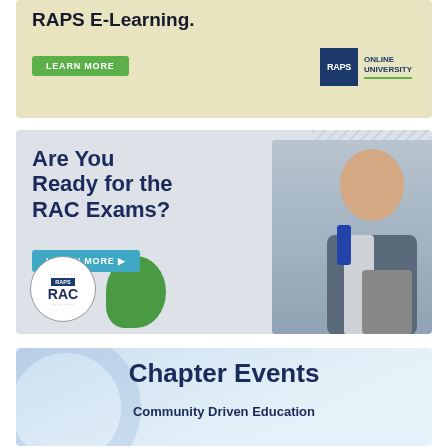[Figure (illustration): RAPS E-Learning advertisement banner with 'LEARN MORE' green button and RAPS Online University logo on yellow-beige background]
[Figure (illustration): RAPS RAC Exams advertisement with bold heading 'Are You Ready for the RAC Exams?', a blue 'LEARN MORE' button, RAC seal logo, a man in a suit holding a tablet, and green blob decoration on grey background]
[Figure (illustration): Chapter Events advertisement with text 'Community Driven Education' on light blue background with swirl decoration]